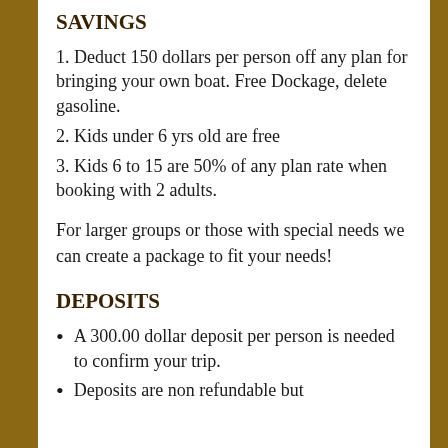SAVINGS
1. Deduct 150 dollars per person off any plan for bringing your own boat. Free Dockage, delete gasoline.
2. Kids under 6 yrs old are free
3. Kids 6 to 15 are 50% of any plan rate when booking with 2 adults.
For larger groups or those with special needs we can create a package to fit your needs!
DEPOSITS
A 300.00 dollar deposit per person is needed to confirm your trip.
Deposits are non refundable but